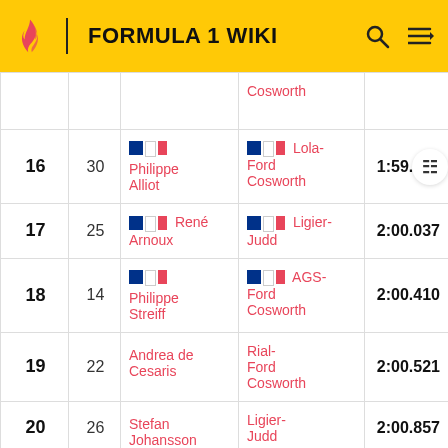FORMULA 1 WIKI
| Pos | No | Driver | Car | Time |
| --- | --- | --- | --- | --- |
|  |  |  | Cosworth |  |
| 16 | 30 | Philippe Alliot | Lola-Ford Cosworth | 1:59.906 |
| 17 | 25 | René Arnoux | Ligier-Judd | 2:00.037 |
| 18 | 14 | Philippe Streiff | AGS-Ford Cosworth | 2:00.410 |
| 19 | 22 | Andrea de Cesaris | Rial-Ford Cosworth | 2:00.521 |
| 20 | 26 | Stefan Johansson | Ligier-Judd | 2:00.857 |